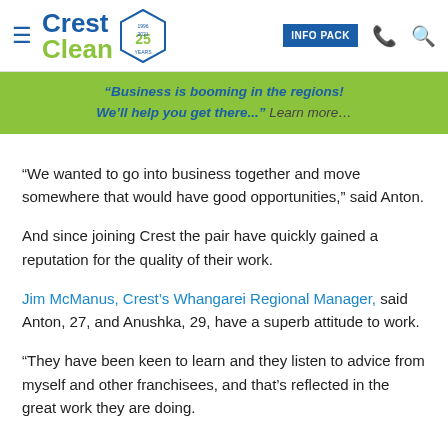CrestClean | INFO PACK
“Business is booming in the regions! We’ll help you get there...” Learn more…
“We wanted to go into business together and move somewhere that would have good opportunities,” said Anton.
And since joining Crest the pair have quickly gained a reputation for the quality of their work.
Jim McManus, Crest’s Whangarei Regional Manager, said Anton, 27, and Anushka, 29, have a superb attitude to work.
“They have been keen to learn and they listen to advice from myself and other franchisees, and that’s reflected in the great work they are doing.